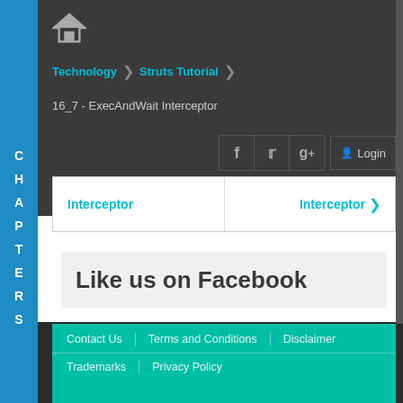Technology > Struts Tutorial
16_7 - ExecAndWait Interceptor
Interceptor | Interceptor
Like us on Facebook
Contact Us | Terms and Conditions | Disclaimer | Trademarks | Privacy Policy